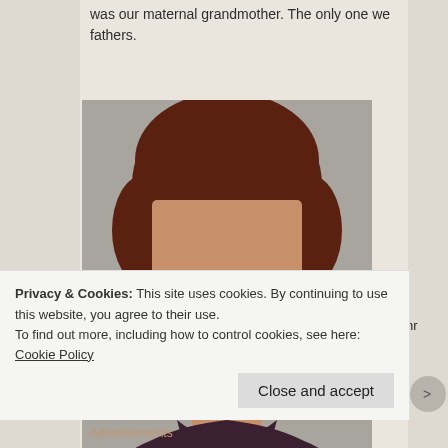was our maternal grandmother. The only one we fathers.
[Figure (photo): Vintage school portrait photo of a young boy with reddish-brown hair wearing a dark turtleneck sweater, photographed against a grey background. The photo appears to be from the 1960s or 1970s.]
Privacy & Cookies: This site uses cookies. By continuing to use this website, you agree to their use.
To find out more, including how to control cookies, see here: Cookie Policy
Close and accept
Advertisements